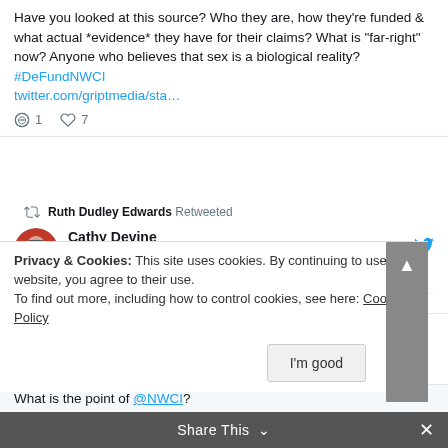Have you looked at this source? Who they are, how they're funded & what actual *evidence* they have for their claims? What is "far-right" now? Anyone who believes that sex is a biological reality? #DeFundNWCI twitter.com/griptmedia/sta…
Reply 1  Like 7
Ruth Dudley Edwards Retweeted
Cathy Devine @cathydevine56 · Aug 23
Replying to @NWCI and @globalextremism
Privacy & Cookies: This site uses cookies. By continuing to use this website, you agree to their use. To find out more, including how to control cookies, see here: Cookie Policy
I'm good
Share This
What is the point of @NWCI?